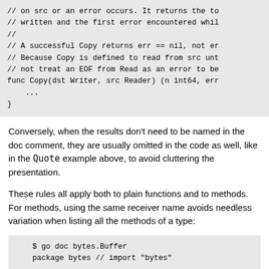[Figure (screenshot): Code block showing Go language comments and function signature for Copy function, with truncated lines ending in ...]
Conversely, when the results don't need to be named in the doc comment, they are usually omitted in the code as well, like in the Quote example above, to avoid cluttering the presentation.
These rules all apply both to plain functions and to methods. For methods, using the same receiver name avoids needless variation when listing all the methods of a type:
[Figure (screenshot): Code block showing: $ go doc bytes.Buffer and package bytes // import "bytes"]